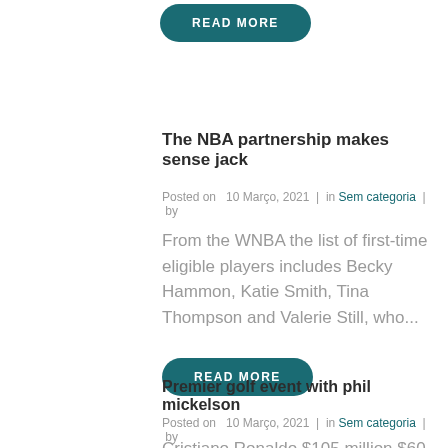READ MORE
The NBA partnership makes sense jack
Posted on  10 Março, 2021  |  in Sem categoria  |  by
From the WNBA the list of first-time eligible players includes Becky Hammon, Katie Smith, Tina Thompson and Valerie Still, who...
READ MORE
Premier golf event with phil mickelson
Posted on  10 Março, 2021  |  in Sem categoria  |  by
Cristiano Ronaldo $105 million $60